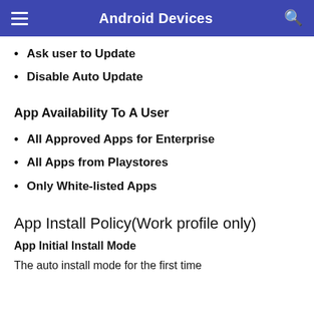Android Devices
Ask user to Update
Disable Auto Update
App Availability To A User
All Approved Apps for Enterprise
All Apps from Playstores
Only White-listed Apps
App Install Policy(Work profile only)
App Initial Install Mode
The auto install mode for the first time